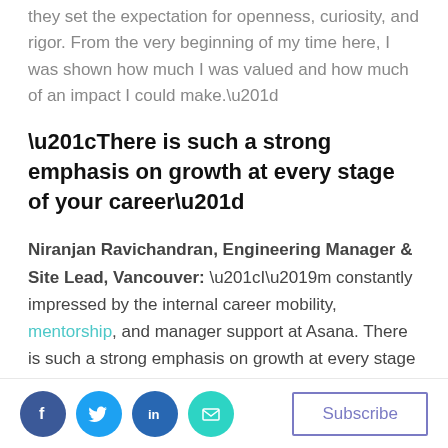they set the expectation for openness, curiosity, and rigor. From the very beginning of my time here, I was shown how much I was valued and how much of an impact I could make.”
“There is such a strong emphasis on growth at every stage of your career”
Niranjan Ravichandran, Engineering Manager & Site Lead, Vancouver: “I’m constantly impressed by the internal career mobility, mentorship, and manager support at Asana. There is such a strong emphasis on growth at every stage of your career. I initially joined Asana as an individual contributor to
Social icons: Facebook, Twitter, LinkedIn, Email | Subscribe button